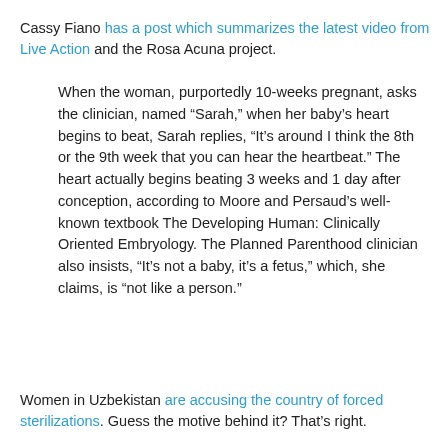Cassy Fiano has a post which summarizes the latest video from Live Action and the Rosa Acuna project.
When the woman, purportedly 10-weeks pregnant, asks the clinician, named “Sarah,” when her baby’s heart begins to beat, Sarah replies, “It’s around I think the 8th or the 9th week that you can hear the heartbeat.” The heart actually begins beating 3 weeks and 1 day after conception, according to Moore and Persaud’s well-known textbook The Developing Human: Clinically Oriented Embryology. The Planned Parenthood clinician also insists, “It’s not a baby, it’s a fetus,” which, she claims, is “not like a person.”
Women in Uzbekistan are accusing the country of forced sterilizations. Guess the motive behind it? That’s right.